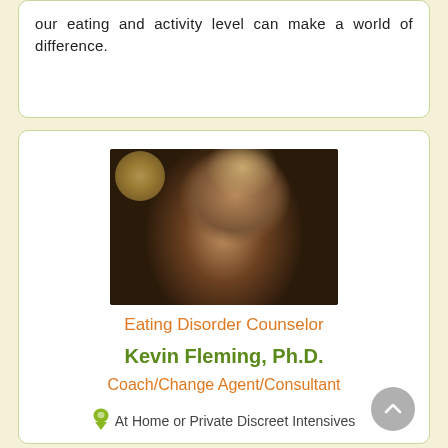our eating and activity level can make a world of difference.
[Figure (photo): Portrait photo of Kevin Fleming, Ph.D. — a man in a dark jacket smiling, with warm bokeh lighting in the background.]
Eating Disorder Counselor
Kevin Fleming, Ph.D.
Coach/Change Agent/Consultant
At Home or Private Discreet Intensives